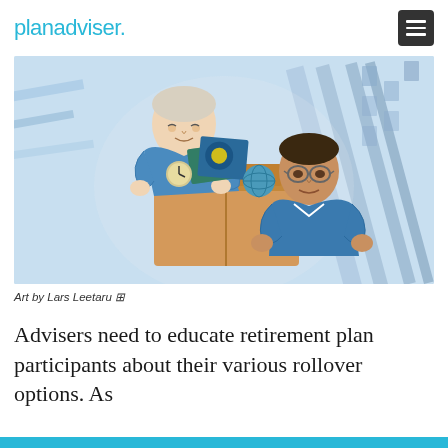planadviser.
[Figure (illustration): Comic-style illustration of two people in blue clothing carrying a large cardboard box filled with items including a clock, books, and a globe, floating or falling against a light blue background with architectural elements]
Art by Lars Leetaru ⊞
Advisers need to educate retirement plan participants about their various rollover options. As